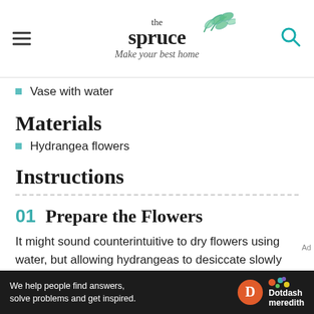the spruce — Make your best home
Vase with water
Materials
Hydrangea flowers
Instructions
01  Prepare the Flowers
It might sound counterintuitive to dry flowers using water, but allowing hydrangeas to desiccate slowly helps them
[Figure (other): Dotdash Meredith advertisement banner: 'We help people find answers, solve problems and get inspired.']